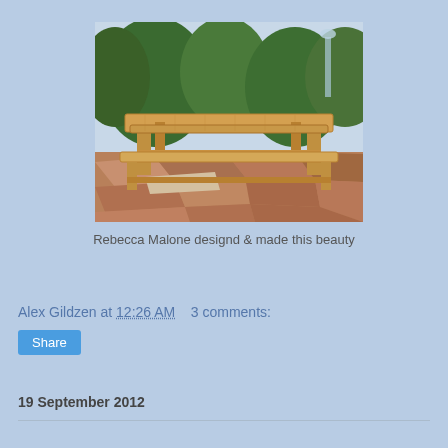[Figure (photo): Wooden outdoor table with benches on a stone patio, surrounded by green trees and shrubs]
Rebecca Malone designd & made this beauty
Alex Gildzen at 12:26 AM   3 comments:
Share
19 September 2012